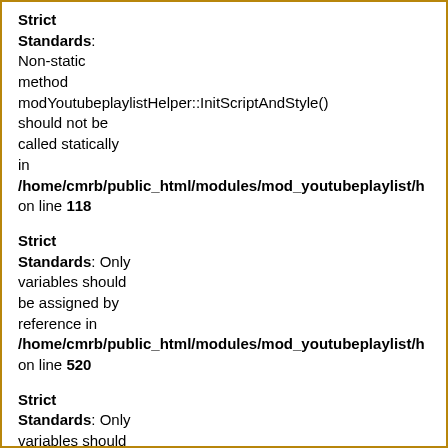Strict Standards: Non-static method modYoutubeplaylistHelper::InitScriptAndStyle() should not be called statically in /home/cmrb/public_html/modules/mod_youtubeplaylist/h on line 118
Strict Standards: Only variables should be assigned by reference in /home/cmrb/public_html/modules/mod_youtubeplaylist/h on line 520
Strict Standards: Only variables should be assigned by reference in /home/cmrb/public_html/modules/mod_youtubeplaylist/h on line 521
Strict Standards: Non-static